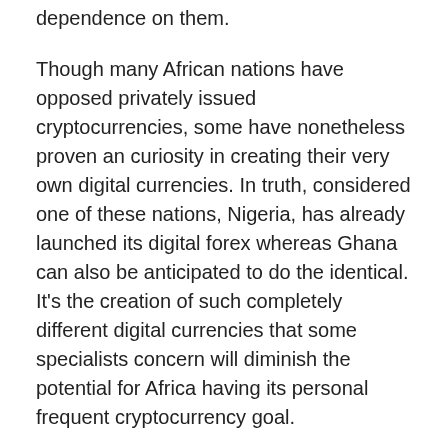dependence on them.
Though many African nations have opposed privately issued cryptocurrencies, some have nonetheless proven an curiosity in creating their very own digital currencies. In truth, considered one of these nations, Nigeria, has already launched its digital forex whereas Ghana can also be anticipated to do the identical. It's the creation of such completely different digital currencies that some specialists concern will diminish the potential for Africa having its personal frequent cryptocurrency goal.
In the meantime, the assertion additionally quotes Augustine Ujunwa, an economist on the West African Financial Institute, who favors a well-functioning built-in capital market. He defined:
Presently, our markets are small, our nations are